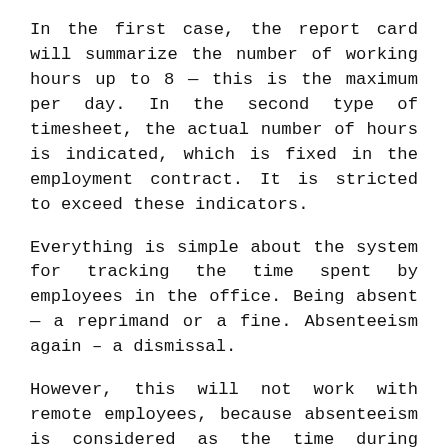In the first case, the report card will summarize the number of working hours up to 8 — this is the maximum per day. In the second type of timesheet, the actual number of hours is indicated, which is fixed in the employment contract. It is stricted to exceed these indicators.
Everything is simple about the system for tracking the time spent by employees in the office. Being absent — a reprimand or a fine. Absenteeism again – a dismissal.
However, this will not work with remote employees, because absenteeism is considered as the time during which the employee was not at the workplace and which is personally supervised by a superior person. Then what to do if the poor performer decided to evade his functional duties and this is recorded by the program that keeps account of the work hours of employees working at home? The boss can fire him due to repeated failure to fulfill his direct